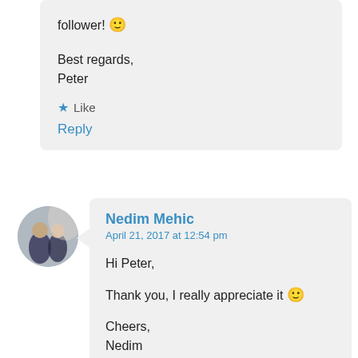follower! 🙂

Best regards,
Peter
★ Like
Reply
[Figure (photo): Circular avatar photo of two people in formal attire]
Nedim Mehic
April 21, 2017 at 12:54 pm
Hi Peter,

Thank you, I really appreciate it 🙂

Cheers,
Nedim